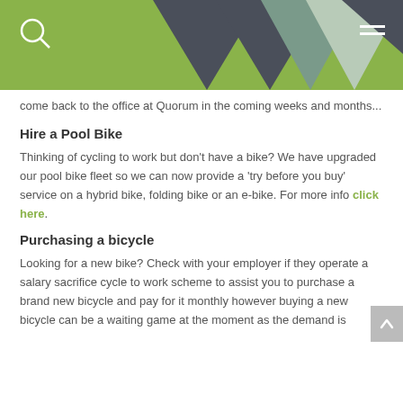Header with logo search icon and navigation
come back to the office at Quorum in the coming weeks and months...
Hire a Pool Bike
Thinking of cycling to work but don't have a bike? We have upgraded our pool bike fleet so we can now provide a 'try before you buy' service on a hybrid bike, folding bike or an e-bike. For more info click here.
Purchasing a bicycle
Looking for a new bike? Check with your employer if they operate a salary sacrifice cycle to work scheme to assist you to purchase a brand new bicycle and pay for it monthly however buying a new bicycle can be a waiting game at the moment as the demand is